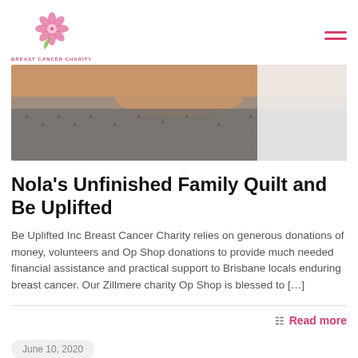[Figure (logo): Be Uplifted Inc Breast Cancer Charity logo — pink flower/cherry blossom icon above the text BREAST CANCER CHARITY]
[Figure (photo): Close-up photo of a person's chest/collarbone area wearing a grey patterned fabric garment, skin visible at top]
Nola's Unfinished Family Quilt and Be Uplifted
Be Uplifted Inc Breast Cancer Charity relies on generous donations of money, volunteers and Op Shop donations to provide much needed financial assistance and practical support to Brisbane locals enduring breast cancer. Our Zillmere charity Op Shop is blessed to […]
Read more
June 10, 2020